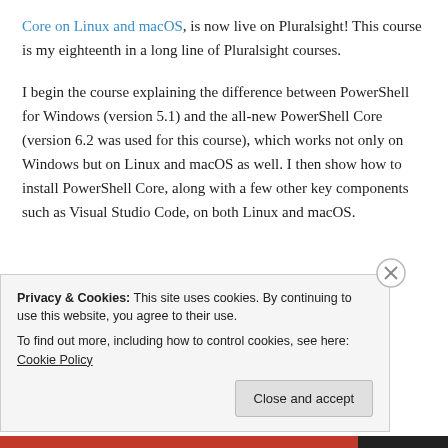Core on Linux and macOS, is now live on Pluralsight! This course is my eighteenth in a long line of Pluralsight courses.
I begin the course explaining the difference between PowerShell for Windows (version 5.1) and the all-new PowerShell Core (version 6.2 was used for this course), which works not only on Windows but on Linux and macOS as well. I then show how to install PowerShell Core, along with a few other key components such as Visual Studio Code, on both Linux and macOS.
Privacy & Cookies: This site uses cookies. By continuing to use this website, you agree to their use.
To find out more, including how to control cookies, see here: Cookie Policy